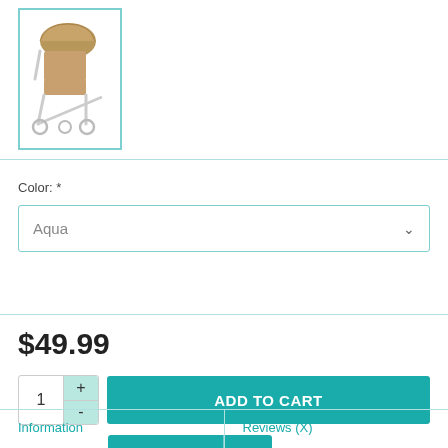[Figure (photo): Baby stroller product thumbnail image with tan/brown seat cushion and canopy, white frame, shown in a teal-bordered thumbnail box]
Color: *
Aqua
$49.99
1
ADD TO CART
ADD TO REGISTRY
Information
Reviews (X)